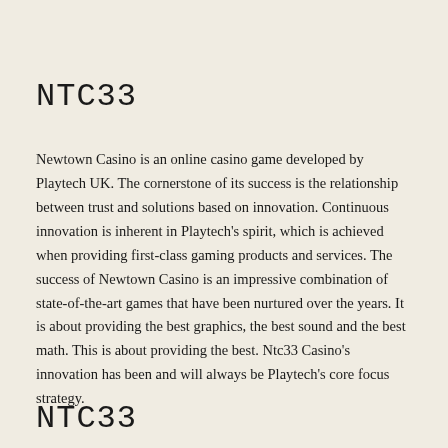NTC33
Newtown Casino is an online casino game developed by Playtech UK. The cornerstone of its success is the relationship between trust and solutions based on innovation. Continuous innovation is inherent in Playtech's spirit, which is achieved when providing first-class gaming products and services. The success of Newtown Casino is an impressive combination of state-of-the-art games that have been nurtured over the years. It is about providing the best graphics, the best sound and the best math. This is about providing the best. Ntc33 Casino's innovation has been and will always be Playtech's core focus strategy.
NTC33